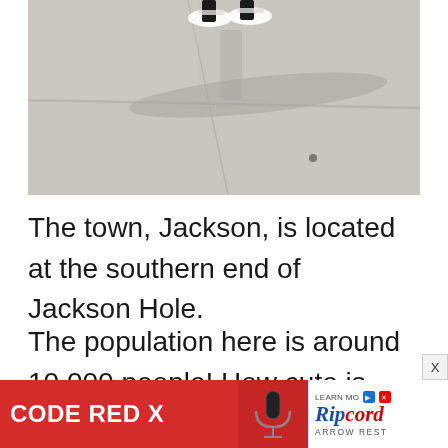[Figure (photo): Photo of a person's feet/shoes standing on a concrete sidewalk with a long shadow cast on the ground. The shadow extends to the right. A small dark dot is visible on the sidewalk surface.]
The town, Jackson, is located at the southern end of Jackson Hole.
The population here is around 10,000 people! How cute is that! Such a small town. Jackson is a
[Figure (screenshot): Advertisement banner. Left red section reads 'CODE RED X' in white bold text with a microphone graphic. Right white section shows 'LEARN MORE' and 'Ripcord Arrow Rest' logo with an archery product image.]